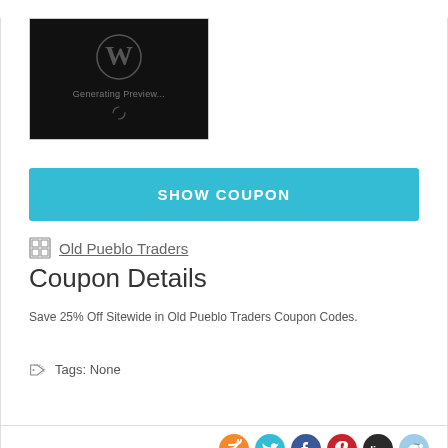[Figure (screenshot): WordPress site generating preview screenshot — black background with WordPress logo (W in circle) and text 'Generating Preview...' with a loading spinner below]
SHOW COUPON
Old Pueblo Traders
Coupon Details
Save 25% Off Sitewide in Old Pueblo Traders Coupon Codes.
Tags: None
[Figure (illustration): Social sharing icons row: RSS (orange), Twitter (cyan), Facebook (dark blue), Pinterest (red), Digg (dark), Reddit (light blue)]